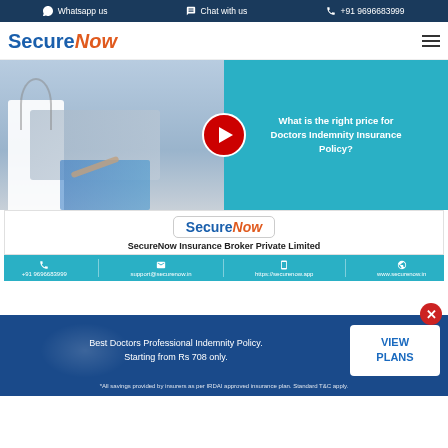Whatsapp us   Chat with us   +91 9696683999
[Figure (logo): SecureNow logo with blue S and orange italic Now]
[Figure (screenshot): YouTube-style video thumbnail showing doctor at laptop with teal overlay panel reading 'What is the right price for Doctors Indemnity Insurance Policy?' with red play button and SecureNow card showing company name and contact strip]
Best Doctors Professional Indemnity Policy. Starting from Rs 708 only.
*All savings provided by insurers as per IRDAI approved insurance plan. Standard T&C apply.